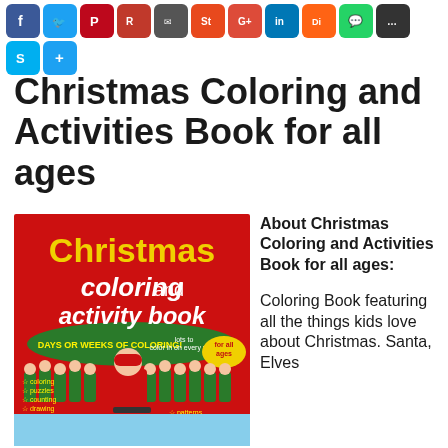[Figure (infographic): Row of social media sharing icon buttons (Facebook, Twitter, Pinterest, Reddit, etc.) and a second row with Skype and a plus/share button]
Christmas Coloring and Activities Book for all ages
[Figure (photo): Book cover image: Christmas Coloring and Activity Book with red background, showing Santa, elves, and text 'Days or Weeks of Coloring! Lots to color in on every page for all ages' with bullet list: coloring, puzzles, counting, drawing, writing in school print, line art, mosaics, patterns, mandalas]
About Christmas Coloring and Activities Book for all ages:
Coloring Book featuring all the things kids love about Christmas. Santa, Elves